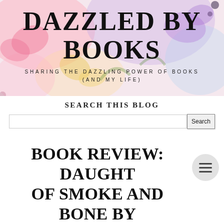[Figure (illustration): Floral watercolor banner background with pink, purple, and yellow flowers]
DAZZLED BY BOOKS
SHARING THE DAZZLING POWER OF BOOKS (AND MY LIFE)
SEARCH THIS BLOG
[Figure (screenshot): Search bar input field with Search button]
BOOK REVIEW: DAUGHTER OF SMOKE AND BONE BY LAINI TAYLOR